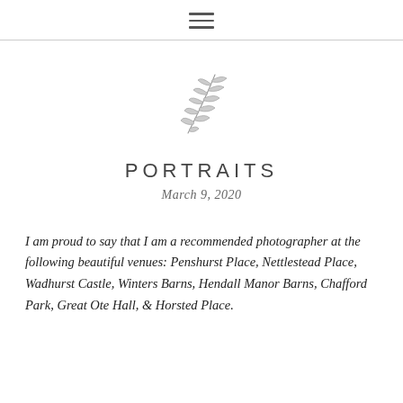≡
[Figure (illustration): A decorative botanical illustration of a leaf branch, drawn in a light gray sketched style, tilted diagonally.]
PORTRAITS
March 9, 2020
I am proud to say that I am a recommended photographer at the following beautiful venues: Penshurst Place, Nettlestead Place, Wadhurst Castle, Winters Barns, Hendall Manor Barns, Chafford Park, Great Ote Hall, & Horsted Place.